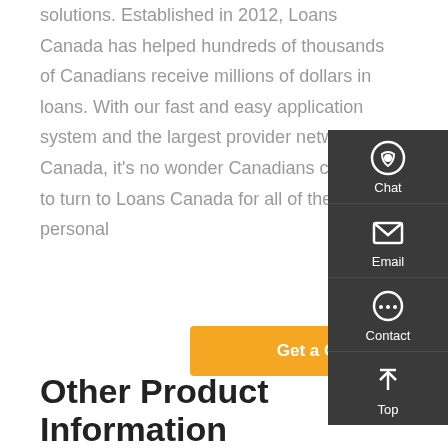solutions. Established in 2012, Loans Canada has helped hundreds of thousands of Canadians receive millions of dollars in loans. With our fast and easy application system and the largest provider network in Canada, it's no wonder Canadians continue to turn to Loans Canada for all of their personal
Get a Quote
[Figure (infographic): Dark sidebar widget with Chat, Email, Contact, and Top navigation icons on a dark grey background with red dividers]
Other Product Information